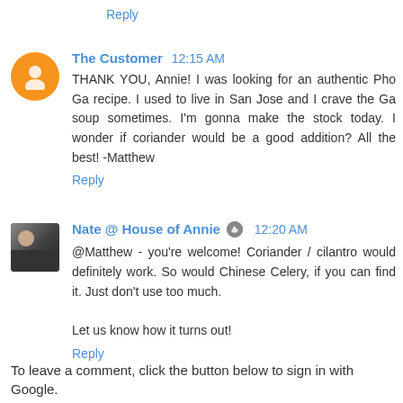Reply
The Customer 12:15 AM
THANK YOU, Annie! I was looking for an authentic Pho Ga recipe. I used to live in San Jose and I crave the Ga soup sometimes. I'm gonna make the stock today. I wonder if coriander would be a good addition? All the best! -Matthew
Reply
Nate @ House of Annie 12:20 AM
@Matthew - you're welcome! Coriander / cilantro would definitely work. So would Chinese Celery, if you can find it. Just don't use too much.

Let us know how it turns out!
Reply
To leave a comment, click the button below to sign in with Google.